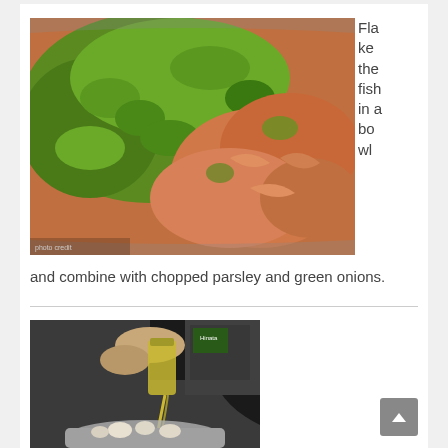[Figure (photo): Close-up photo of flaked salmon fish in a bowl combined with chopped parsley and green onions]
Flake the fish in a bowl and combine with chopped parsley and green onions.
[Figure (photo): Person pouring olive oil from a bottle into a bowl with ingredients]